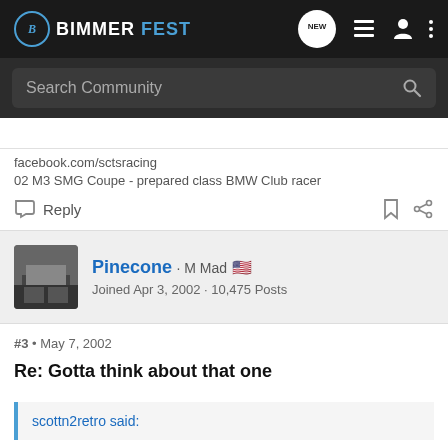BIMMERFEST
Search Community
facebook.com/sctsracing
02 M3 SMG Coupe - prepared class BMW Club racer
Reply
Pinecone · M Mad  Joined Apr 3, 2002 · 10,475 Posts
#3 • May 7, 2002
Re: Gotta think about that one
scottn2retro said: